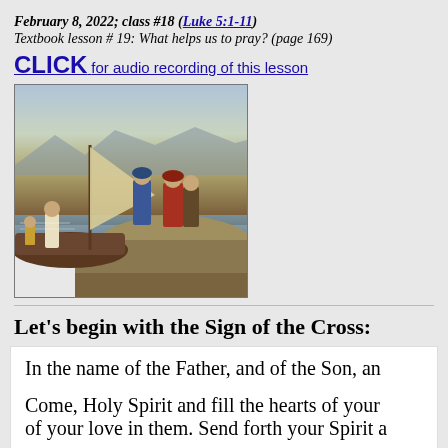February 8, 2022; class #18 (Luke 5:1-11)
Textbook lesson # 19: What helps us to pray? (page 169)
CLICK for audio recording of this lesson
[Figure (illustration): Religious painting depicting Jesus with disciples near a boat by the shore, likely the calling of the first disciples (Luke 5:1-11). Figures in robes standing on a rocky shore with a sailing vessel.]
Let’s begin with the Sign of the Cross:
In the name of the Father, and of the Son, an
Come, Holy Spirit and fill the hearts of your faithful and enkindle in them the fire of your love in them. Send forth your Spirit a